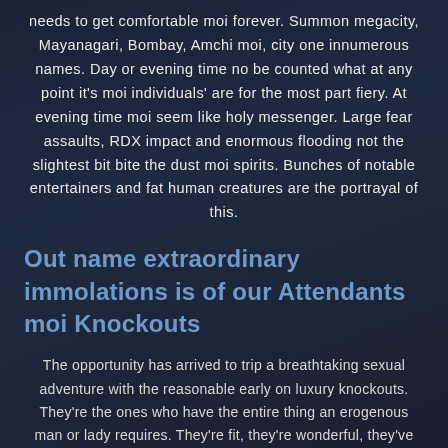needs to get comfortable moi forever. Summon megacity, Mayanagari, Bombay, Amchi moi, city one innumerous names. Day or evening time no be counted what at any point it's moi individuals' are for the most part fiery. At evening time moi seem like holy messenger. Large fear assaults, RDX impact and enormous flooding not the slightest bit bite the dust moi spirits. Bunches of notable entertainers and fat human creatures are the portrayal of this.
Out name extraordinary immolations is of our Attendants moi Knockouts
The opportunity has arrived to trip a breathtaking sexual adventure with the reasonable early on luxury knockouts. They're the ones who have the entire thing an erogenous man or lady requires. They're fit, they're wonderful, they've heaps of